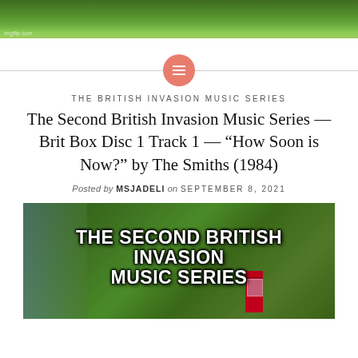[Figure (photo): Top green grassy landscape photo strip with imgflip.com watermark]
[Figure (illustration): Salmon/coral colored circle with horizontal lines icon (menu/hamburger icon)]
THE BRITISH INVASION MUSIC SERIES
The Second British Invasion Music Series — Brit Box Disc 1 Track 1 — “How Soon is Now?” by The Smiths (1984)
Posted by MSJADELI on SEPTEMBER 8, 2021
[Figure (photo): Countryside scene with red British phone box and trees, overlaid with bold white text: THE SECOND BRITISH INVASION MUSIC SERIES]